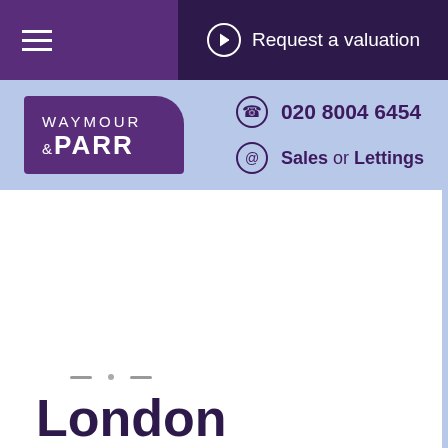Request a valuation
[Figure (logo): Waymour & Parr estate agency logo - white text on purple background]
020 8004 6454
Sales or Lettings
London